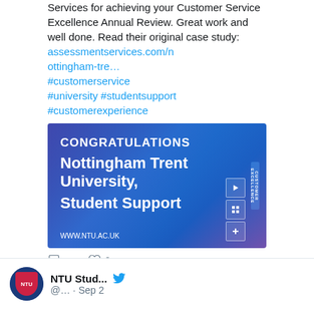Services for achieving your Customer Service Excellence Annual Review. Great work and well done. Read their original case study: assessmentservices.com/nottingham-tre… #customerservice #university #studentsupport #customerexperience
[Figure (photo): Blue congratulations banner image with text: CONGRATULATIONS Nottingham Trent University, Student Support. Shows www.ntu.ac.uk and Customer Excellence badges.]
♡ 2
NTU Stud... @… · Sep 2